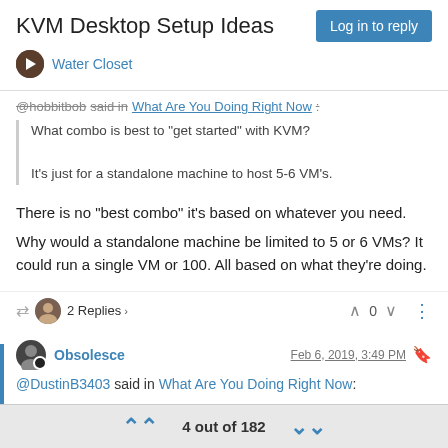KVM Desktop Setup Ideas
Water Closet | Log in to reply
@hobbitbob said in What Are You Doing Right Now:
What combo is best to "get started" with KVM?
It's just for a standalone machine to host 5-6 VM's.
There is no "best combo" it's based on whatever you need.
Why would a standalone machine be limited to 5 or 6 VMs? It could run a single VM or 100. All based on what they're doing.
2 Replies  0
Obsolesce  Feb 6, 2019, 3:49 PM
@DustinB3403 said in What Are You Doing Right Now:
4 out of 182